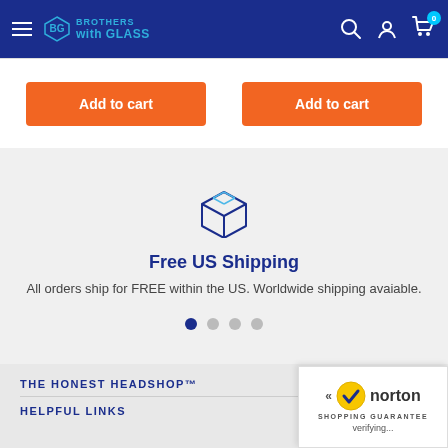Brothers with Glass - Navigation header with logo, search, account, and cart icons
Add to cart
Add to cart
[Figure (illustration): Box/package icon in blue outline style representing shipping]
Free US Shipping
All orders ship for FREE within the US. Worldwide shipping avaiable.
THE HONEST HEADSHOP™
HELPFUL LINKS
[Figure (logo): Norton Shopping Guarantee badge with checkmark logo and verifying text]